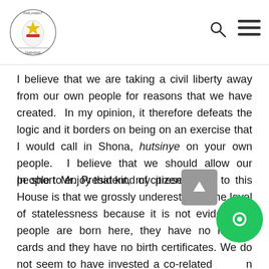Parliament of Zimbabwe
I believe that we are taking a civil liberty away from our own people for reasons that we have created. In my opinion, it therefore defeats the logic and it borders on being on an exercise that I would call in Shona, hutsinye on your own people. I believe that we should allow our people to enjoy that kind of citizenship.
In short Mr. President, my presentation to this House is that we grossly underestimate the level of statelessness because it is not evident but people are born here, they have no identity cards and they have no birth certificates. We do not seem to have invested a co-related in attending to their problems. I therefore urge that Government takes this seriously. There is an argument